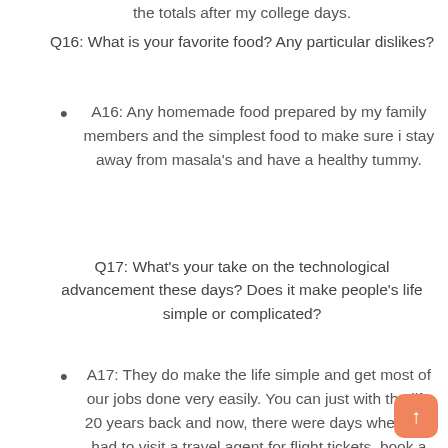the totals after my college days.
Q16: What is your favorite food? Any particular dislikes?
A16: Any homemade food prepared by my family members and the simplest food to make sure i stay away from masala’s and have a healthy tummy.
Q17: What’s your take on the technological advancement these days? Does it make people’s life simple or complicated?
A17: They do make the life simple and get most of our jobs done very easily. You can just with the life 20 years back and now, there were days when you had to visit a travel agent for flight tickets, book a cab by meeting the driver and fixing rates, keep calling flight operators for updates, call up